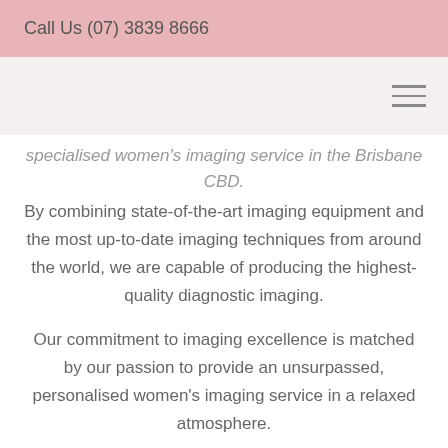Call Us (07) 3839 8666
specialised women's imaging service in the Brisbane CBD.
By combining state-of-the-art imaging equipment and the most up-to-date imaging techniques from around the world, we are capable of producing the highest-quality diagnostic imaging.
Our commitment to imaging excellence is matched by our passion to provide an unsurpassed, personalised women's imaging service in a relaxed atmosphere.
Our all-female team of professionals are exceptionally